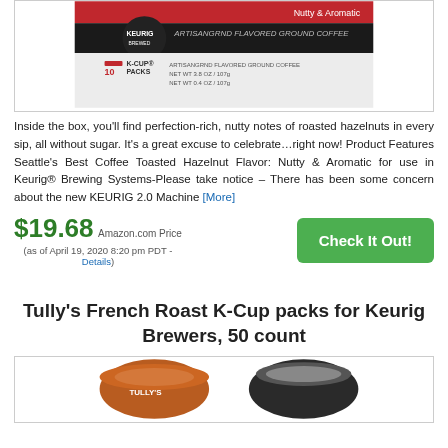[Figure (photo): Seattle's Best Coffee K-Cup Packs box product image showing Keurig K-Cup Packs box with 10 count]
Inside the box, you'll find perfection-rich, nutty notes of roasted hazelnuts in every sip, all without sugar. It's a great excuse to celebrate…right now! Product Features Seattle's Best Coffee Toasted Hazelnut Flavor: Nutty & Aromatic for use in Keurig® Brewing Systems-Please take notice – There has been some concern about the new KEURIG 2.0 Machine [More]
$19.68 Amazon.com Price (as of April 19, 2020 8:20 pm PDT - Details)
[Figure (photo): Tully's French Roast K-Cup product image showing two K-Cup pods]
Tully's French Roast K-Cup packs for Keurig Brewers, 50 count